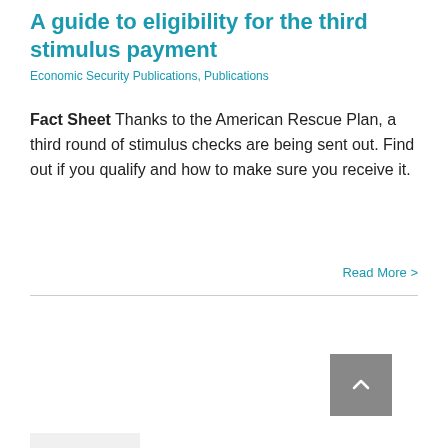A guide to eligibility for the third stimulus payment
Economic Security Publications, Publications
Fact Sheet Thanks to the American Rescue Plan, a third round of stimulus checks are being sent out. Find out if you qualify and how to make sure you receive it.
Read More >
[Figure (other): Date block showing Mar 25 2021 in teal/blue background with pen icon below]
[Figure (other): Gray scroll-to-top button with upward chevron arrow]